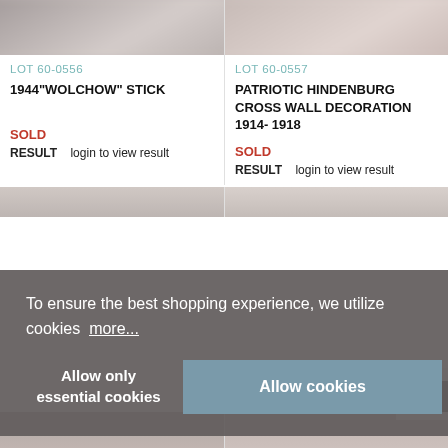[Figure (photo): Partial blurred photo of auction lot 60-0556]
LOT 60-0556
1944"WOLCHOW" STICK
SOLD
RESULT   login to view result
[Figure (photo): Partial blurred photo of auction lot 60-0557]
LOT 60-0557
PATRIOTIC HINDENBURG CROSS WALL DECORATION 1914- 1918
SOLD
RESULT   login to view result
To ensure the best shopping experience, we utilize cookies  more...
Allow only essential cookies
Allow cookies